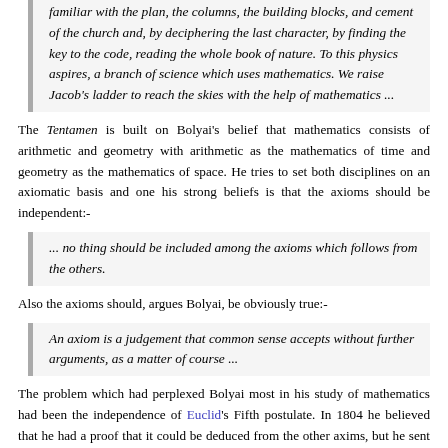familiar with the plan, the columns, the building blocks, and cement of the church and, by deciphering the last character, by finding the key to the code, reading the whole book of nature. To this physics aspires, a branch of science which uses mathematics. We raise Jacob's ladder to reach the skies with the help of mathematics ...
The Tentamen is built on Bolyai's belief that mathematics consists of arithmetic and geometry with arithmetic as the mathematics of time and geometry as the mathematics of space. He tries to set both disciplines on an axiomatic basis and one his strong beliefs is that the axioms should be independent:-
... no thing should be included among the axioms which follows from the others.
Also the axioms should, argues Bolyai, be obviously true:-
An axiom is a judgement that common sense accepts without further arguments, as a matter of course ...
The problem which had perplexed Bolyai most in his study of mathematics had been the independence of Euclid's Fifth postulate. In 1804 he believed that he had a proof that it could be deduced from the other axims, but he sent his proof to Gauss